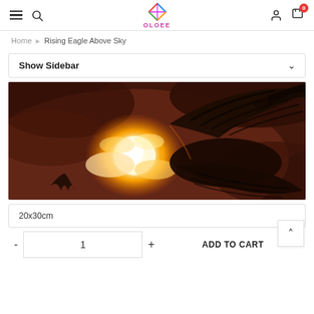OLOEE store header with hamburger menu, search, logo, user, and cart icons
Home › Rising Eagle Above Sky
Show Sidebar
[Figure (illustration): Fantasy illustration of an eagle with dark wings spread wide, silhouetted against a dramatic golden and fiery sky with bright glowing light burst in the center and dark reddish-brown cloudy background.]
20x30cm
- 1 + ADD TO CART